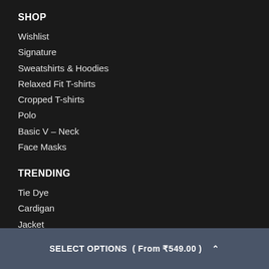SHOP
Wishlist
Signature
Sweatshirts & Hoodies
Relaxed Fit T-shirts
Cropped T-shirts
Polo
Basic V – Neck
Face Masks
TRENDING
Tie Dye
Cardigan
Jacket
SELECT OPTIONS  ( From ₹549.00 )  ^